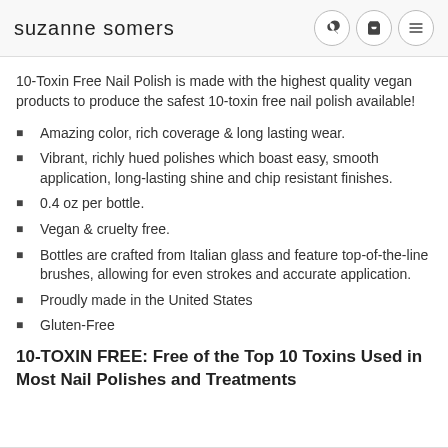suzanne somers
10-Toxin Free Nail Polish is made with the highest quality vegan products to produce the safest 10-toxin free nail polish available!
Amazing color, rich coverage & long lasting wear.
Vibrant, richly hued polishes which boast easy, smooth application, long-lasting shine and chip resistant finishes.
0.4 oz per bottle.
Vegan & cruelty free.
Bottles are crafted from Italian glass and feature top-of-the-line brushes, allowing for even strokes and accurate application.
Proudly made in the United States
Gluten-Free
10-TOXIN FREE: Free of the Top 10 Toxins Used in Most Nail Polishes and Treatments